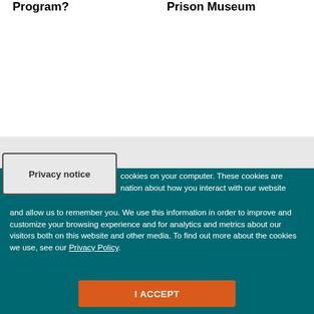Program?
Prison Museum
cookies on your computer. These cookies are nation about how you interact with our website and allow us to remember you. We use this information in order to improve and customize your browsing experience and for analytics and metrics about our visitors both on this website and other media. To find out more about the cookies we use, see our Privacy Policy.
Privacy notice
I ACCEPT